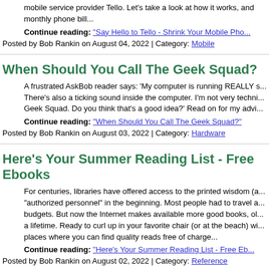mobile service provider Tello. Let's take a look at how it works, and monthly phone bill...
Continue reading: "Say Hello to Tello - Shrink Your Mobile Pho..."
Posted by Bob Rankin on August 04, 2022 | Category: Mobile
When Should You Call The Geek Squad?
A frustrated AskBob reader says: 'My computer is running REALLY s... There's also a ticking sound inside the computer. I'm not very techni... Geek Squad. Do you think that's a good idea?' Read on for my advi...
Continue reading: "When Should You Call The Geek Squad?"
Posted by Bob Rankin on August 03, 2022 | Category: Hardware
Here's Your Summer Reading List - Free Ebooks
For centuries, libraries have offered access to the printed wisdom (a... "authorized personnel" in the beginning. Most people had to travel a... budgets. But now the Internet makes available more good books, ol... a lifetime. Ready to curl up in your favorite chair (or at the beach) wi... places where you can find quality reads free of charge...
Continue reading: "Here's Your Summer Reading List - Free Eb..."
Posted by Bob Rankin on August 02, 2022 | Category: Reference